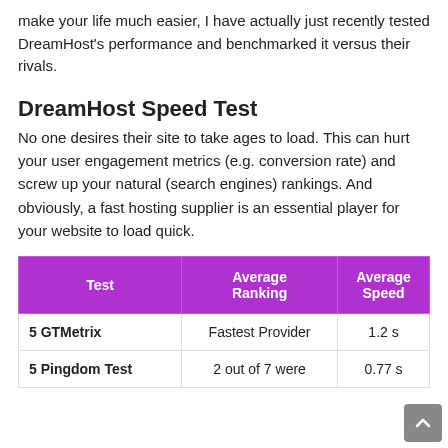make your life much easier, I have actually just recently tested DreamHost's performance and benchmarked it versus their rivals.
DreamHost Speed Test
No one desires their site to take ages to load. This can hurt your user engagement metrics (e.g. conversion rate) and screw up your natural (search engines) rankings. And obviously, a fast hosting supplier is an essential player for your website to load quick.
| Test | Average Ranking | Average Speed |
| --- | --- | --- |
| 5 GTMetrix | Fastest Provider | 1.2 s |
| 5 Pingdom Test | 2 out of 7 were | 0.77 s |